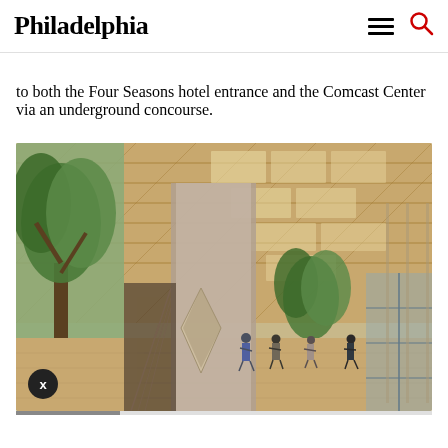Philadelphia
to both the Four Seasons hotel entrance and the Comcast Center via an underground concourse.
[Figure (illustration): Architectural rendering of a modern building lobby/atrium featuring a large wooden latticed ceiling, trees, reflective metal surfaces, escalators, and people walking through a grand open space.]